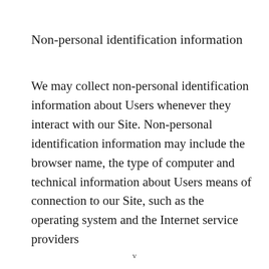Non-personal identification information
We may collect non-personal identification information about Users whenever they interact with our Site. Non-personal identification information may include the browser name, the type of computer and technical information about Users means of connection to our Site, such as the operating system and the Internet service providers
v